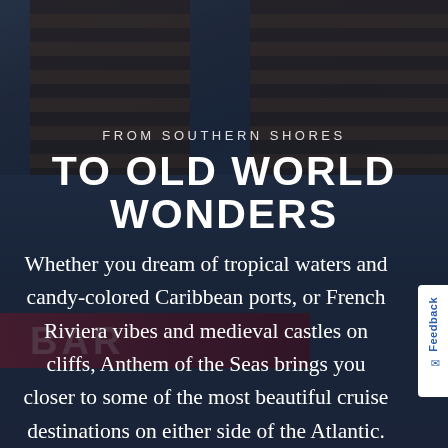[Figure (photo): Background photo of a building with dark wooden shutters/blinds visible at the top and a bar sign partially visible in the lower portion, overlaid with dark blue tint. Text is overlaid on the photo.]
FROM SOUTHERN SHORES
TO OLD WORLD WONDERS
Whether you dream of tropical waters and candy-colored Caribbean ports, or French Riviera vibes and medieval castles on cliffs, Anthem of the Seas brings you closer to some of the most beautiful cruise destinations on either side of the Atlantic.